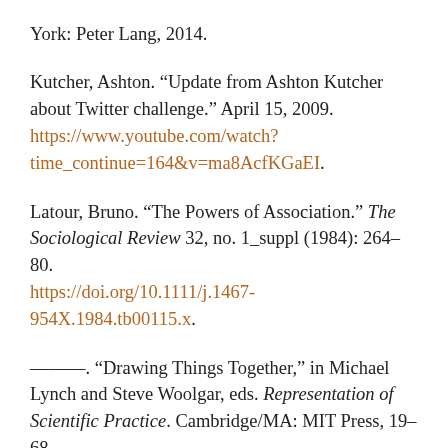York: Peter Lang, 2014.
Kutcher, Ashton. “Update from Ashton Kutcher about Twitter challenge.” April 15, 2009. https://www.youtube.com/watch?time_continue=164&v=ma8AcfKGaEI.
Latour, Bruno. “The Powers of Association.” The Sociological Review 32, no. 1_suppl (1984): 264–80. https://doi.org/10.1111/j.1467-954X.1984.tb00115.x.
———. “Drawing Things Together,” in Michael Lynch and Steve Woolgar, eds. Representation of Scientific Practice. Cambridge/MA: MIT Press, 19–68.